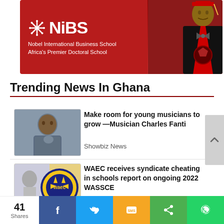[Figure (illustration): NiBS Nobel International Business School advertisement banner with red background. Shows NiBS logo with snowflake/asterisk icon on the left side and text 'Nobel International Business School - Africa's Premier Doctoral School'. On the right side is a man in academic regalia (red doctoral gown and cap) posing for the photo.]
Trending News In Ghana
[Figure (photo): Photo of musician Charles Fanti, a young man in blue shirt posing with hand near chin]
Make room for young musicians to grow —Musician Charles Fanti
Showbiz News
[Figure (photo): WAEC logo (West African Examinations Council) circular emblem in blue and yellow with 'waec' text. A student figure visible in background.]
WAEC receives syndicate cheating in schools report on ongoing 2022 WASSCE
Education
41 Shares | Facebook | Twitter | SMS | Share | WhatsApp